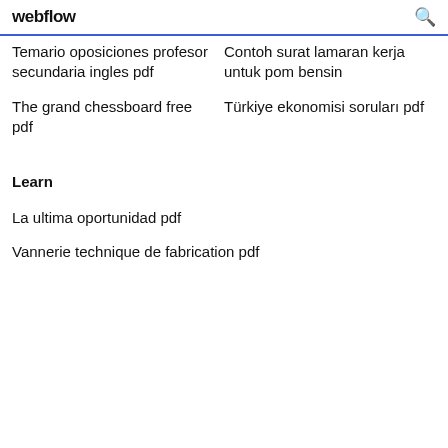webflow
Temario oposiciones profesor secundaria ingles pdf
The grand chessboard free pdf
Contoh surat lamaran kerja untuk pom bensin
Türkiye ekonomisi soruları pdf
Learn
La ultima oportunidad pdf
Vannerie technique de fabrication pdf